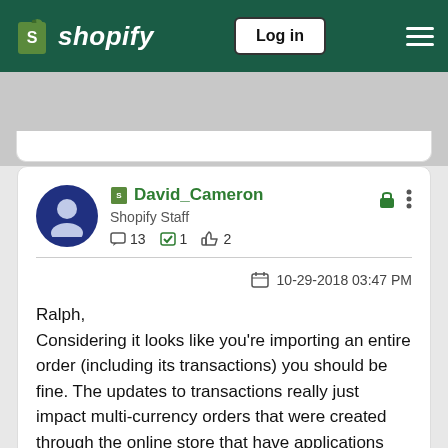Shopify — Log in
David_Cameron
Shopify Staff
13 posts · 1 solution · 2 likes
10-29-2018 03:47 PM
Ralph,
Considering it looks like you're importing an entire order (including its transactions) you should be fine. The updates to transactions really just impact multi-currency orders that were created through the online store that have applications that want to interact with those transactions.